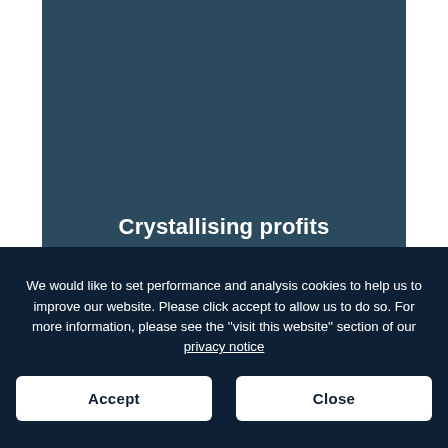[Figure (other): Steel blue rectangular panel background, partially visible at top of page]
Crystallising profits
We would like to set performance and analysis cookies to help us to improve our website. Please click accept to allow us to do so. For more information, please see the ''visit this website'' section of our privacy notice
Accept
Close